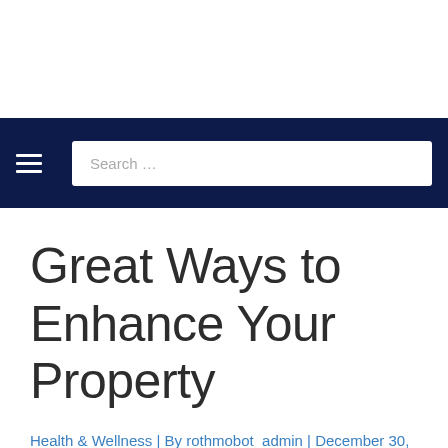Great Ways to Enhance Your Property
Health & Wellness | By rothmobot_admin | December 30, 2021 | 4 minutes of reading